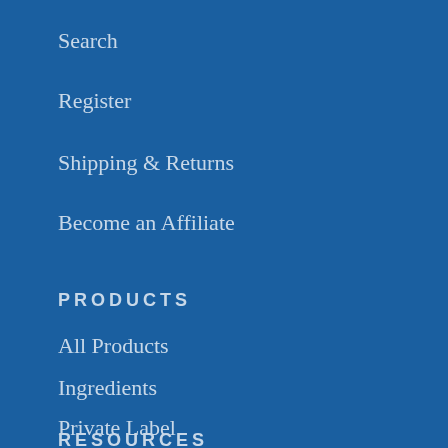Search
Register
Shipping & Returns
Become an Affiliate
PRODUCTS
All Products
Ingredients
Private Label
Request an Item
RESOURCES